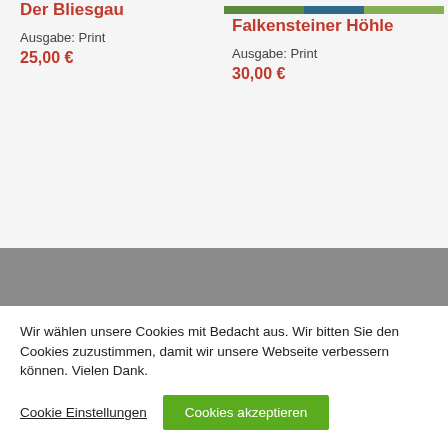Der Bliesgau
Ausgabe: Print
25,00 €
[Figure (photo): Partial product image top right (landscape/nature)]
Falkensteiner Höhle
Ausgabe: Print
30,00 €
Wir wählen unsere Cookies mit Bedacht aus. Wir bitten Sie den Cookies zuzustimmen, damit wir unsere Webseite verbessern können. Vielen Dank.
Cookie Einstellungen
Cookies akzeptieren